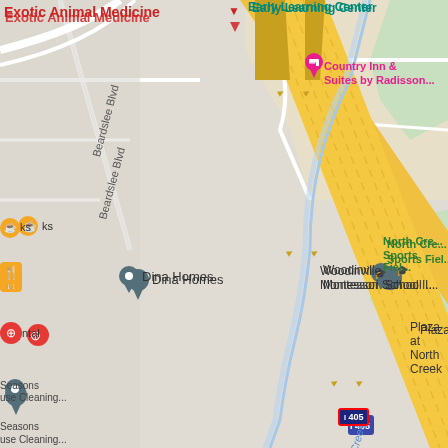[Figure (map): Google Maps screenshot showing Woodinville, WA area. Visible features include Interstate 405 running diagonally (NW to SE) with multiple yellow lanes, North Creek waterway running parallel, Beardslee Blvd on the left, and various business markers including: Exotic Animal Medicine (red text, top left), Early Learning Center (teal, top right), Country Inn & Suites by Radisson (pink marker, top center-right), Dina Homes (gray pin, left center), Woodinville Montessori School (gray pin with graduation cap, right center), Plaza at North Creek (gray pin, center), Essentia Water LLC (gray pin, center right), North Creek Sports Field (green area, far right), Seasons House Cleaning (left), Providence CH (right), Lundbeck S. BioPharmacea (lower right), Tethers Unlimited Inc (gray pin, bottom center), and I-405 highway shield (center). North Creek waterway label appears diagonally in blue italic text.]